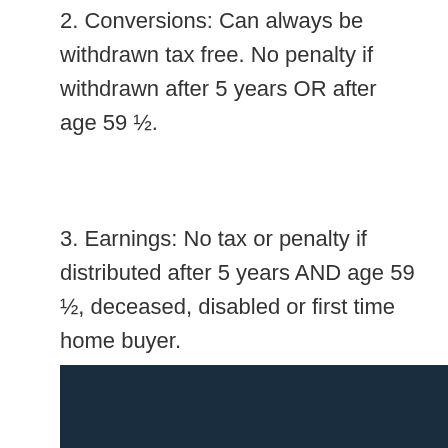2. Conversions: Can always be withdrawn tax free. No penalty if withdrawn after 5 years OR after age 59 ½.
3. Earnings: No tax or penalty if distributed after 5 years AND age 59 ½, deceased, disabled or first time home buyer.
https://www.irahelp.com/slottreport/roth-ira-two-clocks
[Figure (other): Dark navy/teal colored bar at the bottom of the page]